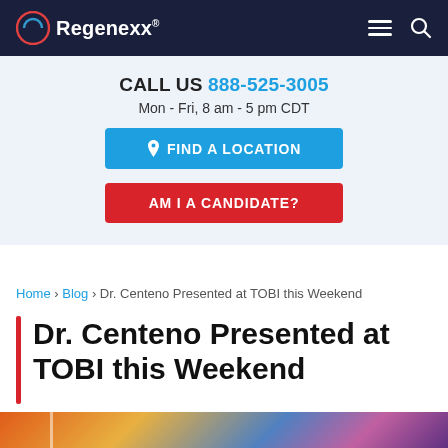Regenexx
CALL US 888-525-3005
Mon - Fri, 8 am - 5 pm CDT
FIND A LOCATION
AM I A CANDIDATE?
Home › Blog › Dr. Centeno Presented at TOBI this Weekend
Dr. Centeno Presented at TOBI this Weekend
By Chris Centeno, MD / Jun 12, 2022
[Figure (photo): Decorative image strip at the bottom of the page, with colorful gradient lighting in orange, yellow, blue, and purple tones]